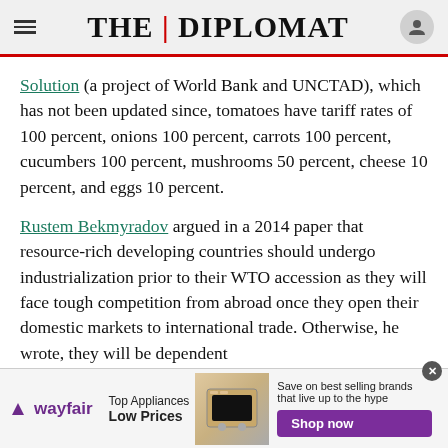THE DIPLOMAT
Solution (a project of World Bank and UNCTAD), which has not been updated since, tomatoes have tariff rates of 100 percent, onions 100 percent, carrots 100 percent, cucumbers 100 percent, mushrooms 50 percent, cheese 10 percent, and eggs 10 percent.
Rustem Bekmyradov argued in a 2014 paper that resource-rich developing countries should undergo industrialization prior to their WTO accession as they will face tough competition from abroad once they open their domestic markets to international trade. Otherwise, he wrote, they will be dependent
[Figure (other): Wayfair advertisement banner: Top Appliances Low Prices, Save on best selling brands that live up to the hype, Shop now button]